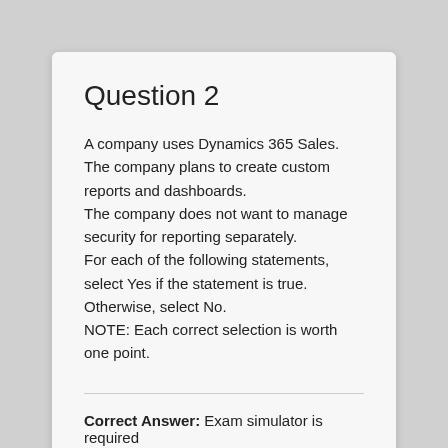Question 2
A company uses Dynamics 365 Sales. The company plans to create custom reports and dashboards. The company does not want to manage security for reporting separately. For each of the following statements, select Yes if the statement is true. Otherwise, select No. NOTE: Each correct selection is worth one point.
Correct Answer: Exam simulator is required